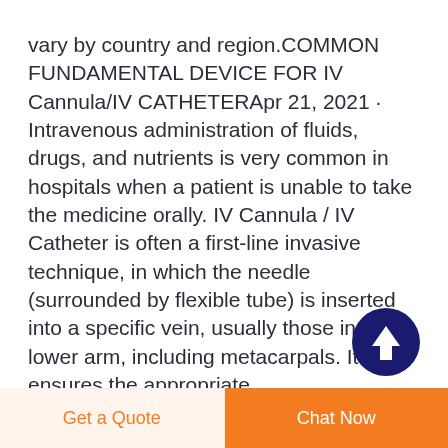vary by country and region.COMMON FUNDAMENTAL DEVICE FOR IV Cannula/IV CATHETERApr 21, 2021 · Intravenous administration of fluids, drugs, and nutrients is very common in hospitals when a patient is unable to take the medicine orally. IV Cannula / IV Catheter is often a first-line invasive technique, in which the needle (surrounded by flexible tube) is inserted into a specific vein, usually those in the lower arm, including metacarpals. It ensures the appropriate
[Figure (other): Dark navy blue circle button with a white upward arrow icon, used as a scroll-to-top button]
Get a Quote
Chat Now